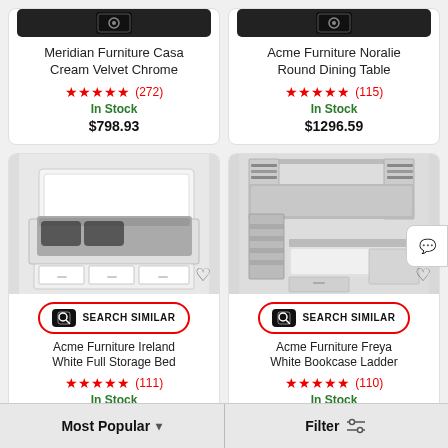[Figure (screenshot): Top portion of two product cards partially visible at the top of the page showing camera/search icons on dark backgrounds]
Meridian Furniture Casa Cream Velvet Chrome
★★★★★ (272)
In Stock
$798.93
Acme Furniture Noralie Round Dining Table
★★★★★ (115)
In Stock
$1296.59
[Figure (photo): White full storage bed with drawers underneath - Acme Furniture Ireland White Full Storage Bed]
[Figure (photo): White bunk bed with bookcase and ladder - Acme Furniture Freya White Bookcase Ladder]
SEARCH SIMILAR
Acme Furniture Ireland White Full Storage Bed
★★★★★ (111)
In Stock
SEARCH SIMILAR
Acme Furniture Freya White Bookcase Ladder
★★★★★ (110)
In Stock
Most Popular
Filter